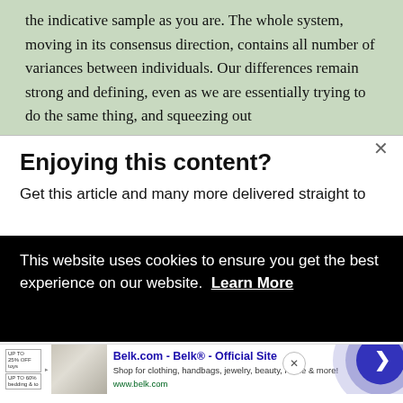the indicative sample as you are. The whole system, moving in its consensus direction, contains all number of variances between individuals. Our differences remain strong and defining, even as we are essentially trying to do the same thing, and squeezing out
Enjoying this content?
Get this article and many more delivered straight to
This website uses cookies to ensure you get the best experience on our website. Learn More
Belk.com - Belk® - Official Site
Shop for clothing, handbags, jewelry, beauty, home & more!
www.belk.com